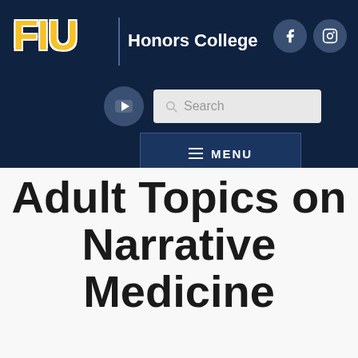[Figure (logo): FIU Honors College website header with FIU logo, Honors College text, Facebook and Instagram icons, YouTube button, search bar, and menu button on dark navy background]
Adult Topics on Narrative Medicine